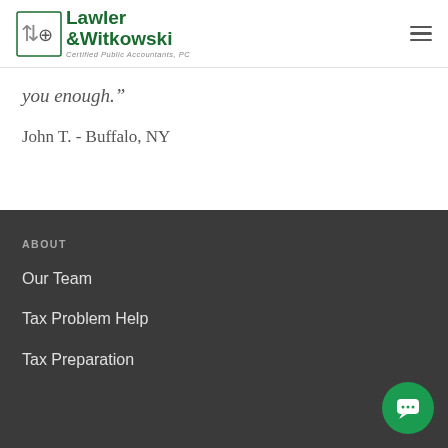Lawler & Witkowski Certified Public Accountants, PC
you enough.""
John T. - Buffalo, NY
ABOUT
Our Team
Tax Problem Help
Tax Preparation